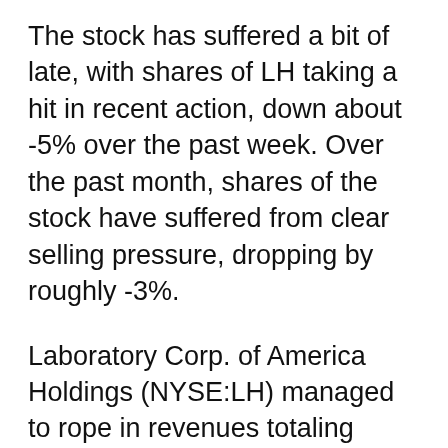The stock has suffered a bit of late, with shares of LH taking a hit in recent action, down about -5% over the past week. Over the past month, shares of the stock have suffered from clear selling pressure, dropping by roughly -3%.
Laboratory Corp. of America Holdings (NYSE:LH) managed to rope in revenues totaling $4.1B in overall sales during the company's most recently reported quarterly financial data — a figure that represents a rate of top line growth of -9.7%, as compared to year-ago data in comparable terms. In addition, the company is battling some balance sheet